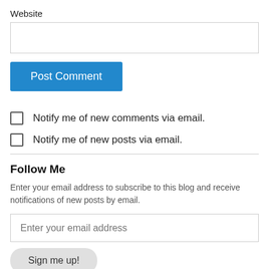Website
Post Comment
Notify me of new comments via email.
Notify me of new posts via email.
Follow Me
Enter your email address to subscribe to this blog and receive notifications of new posts by email.
Enter your email address
Sign me up!